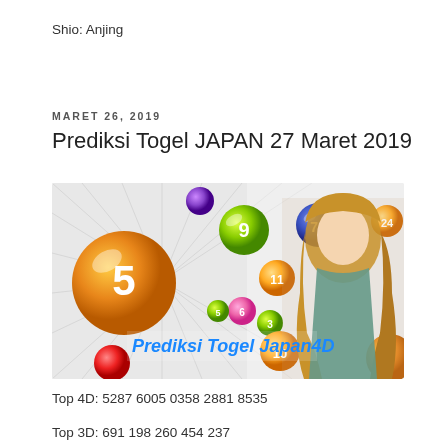Shio: Anjing
MARET 26, 2019
Prediksi Togel JAPAN 27 Maret 2019
[Figure (photo): Lottery prediction banner image showing colorful numbered lottery balls and a young woman, with text 'Prediksi Togel Japan4D']
Top 4D: 5287 6005 0358 2881 8535
Top 3D: 691 198 260 454 237